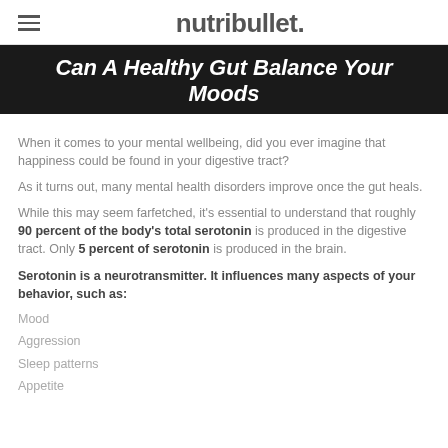nutribullet.
Can A Healthy Gut Balance Your Moods
When it comes to your mental wellbeing, did you ever imagine that happiness could be found in your digestive tract?
As it turns out, many mental health disorders improve once the gut heals.
While this may seem farfetched, it's essential to understand that roughly 90 percent of the body's total serotonin is produced in the digestive tract. Only 5 percent of serotonin is produced in the brain.
Serotonin is a neurotransmitter. It influences many aspects of your behavior, such as:
Mood
Aggression
Sleep patterns
Appetite